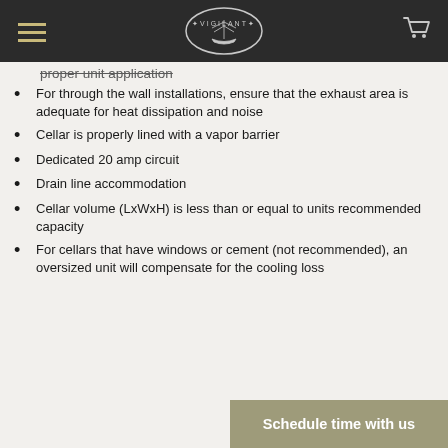Vigilant (logo)
proper unit application (partial, cut off)
For through the wall installations, ensure that the exhaust area is adequate for heat dissipation and noise
Cellar is properly lined with a vapor barrier
Dedicated 20 amp circuit
Drain line accommodation
Cellar volume (LxWxH) is less than or equal to units recommended capacity
For cellars that have windows or cement (not recommended), an oversized unit will compensate for the cooling loss
Schedule time with us